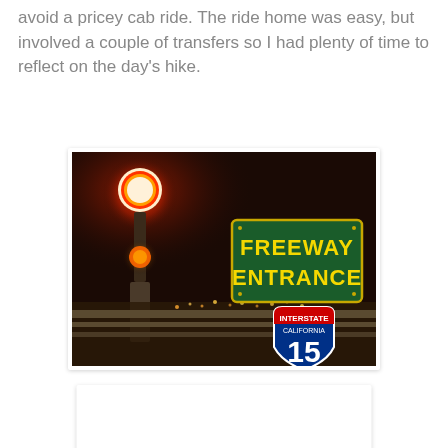avoid a pricey cab ride. The ride home was easy, but involved a couple of transfers so I had plenty of time to reflect on the day's hike.
[Figure (photo): Nighttime photo showing a red traffic light, a green highway sign reading 'FREEWAY ENTRANCE', and an Interstate 15 California shield sign below it, against a dark sky with city lights in the background.]
[Figure (photo): Dark nighttime photo with a dark patterned background, mostly black with a faint diamond/lattice pattern visible.]